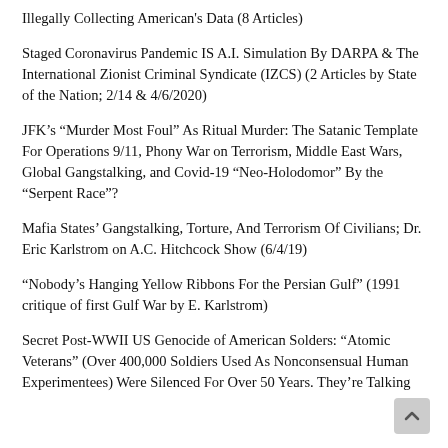Illegally Collecting American's Data (8 Articles)
Staged Coronavirus Pandemic IS A.I. Simulation By DARPA & The International Zionist Criminal Syndicate (IZCS) (2 Articles by State of the Nation; 2/14 & 4/6/2020)
JFK's “Murder Most Foul” As Ritual Murder: The Satanic Template For Operations 9/11, Phony War on Terrorism, Middle East Wars, Global Gangstalking, and Covid-19 “Neo-Holodomor” By the “Serpent Race”?
Mafia States’ Gangstalking, Torture, And Terrorism Of Civilians; Dr. Eric Karlstrom on A.C. Hitchcock Show (6/4/19)
“Nobody’s Hanging Yellow Ribbons For the Persian Gulf” (1991 critique of first Gulf War by E. Karlstrom)
Secret Post-WWII US Genocide of American Solders: “Atomic Veterans” (Over 400,000 Soldiers Used As Nonconsensual Human Experimentees) Were Silenced For Over 50 Years. They’re Talking